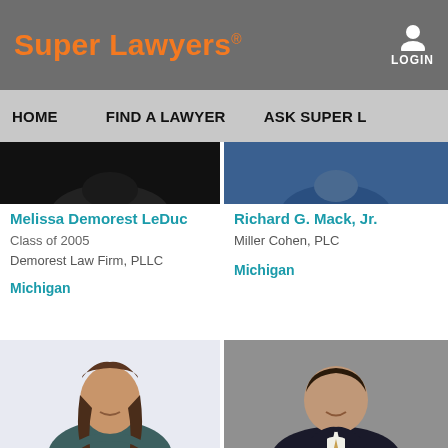Super Lawyers
LOGIN
HOME   FIND A LAWYER   ASK SUPER L
[Figure (photo): Partial photo of Melissa Demorest LeDuc, dark background, person in dark clothing]
[Figure (photo): Partial photo of Richard G. Mack Jr., wearing blue suit]
Melissa Demorest LeDuc
Class of 2005
Demorest Law Firm, PLLC
Michigan
Richard G. Mack, Jr.
Miller Cohen, PLC
Michigan
[Figure (photo): Professional photo of a young woman with long hair, smiling, wearing dark dress, arms crossed]
[Figure (photo): Professional photo of a young man in dark suit with light tie, smiling]